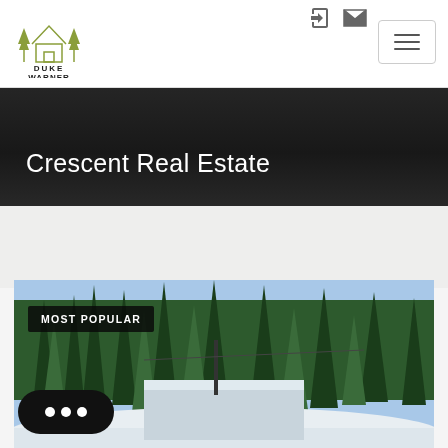[Figure (logo): Duke Warner Realty logo — line-art house with trees above text DUKE WARNER REALTY in black]
Duke Warner Realty — navigation header with login icon, email icon, and hamburger menu
Crescent Real Estate
[Figure (photo): Outdoor real estate property photo showing a snow-covered structure surrounded by tall pine trees in a winter landscape, with a 'MOST POPULAR' badge overlay]
MOST POPULAR